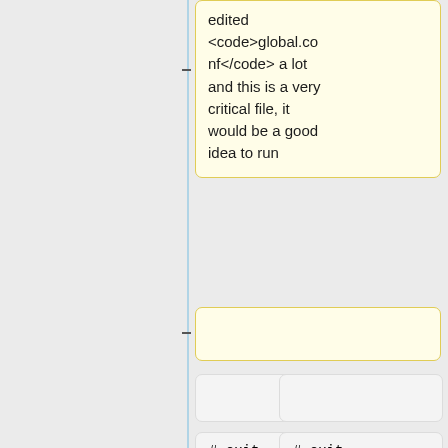edited <code>global.conf</code> a lot and this is a very critical file, it would be a good idea to run
# exit
# exit
$ diff global.conf global.conf.dist
and check that you haven't made any mistakes (e.g. by introducing an inadvertant line